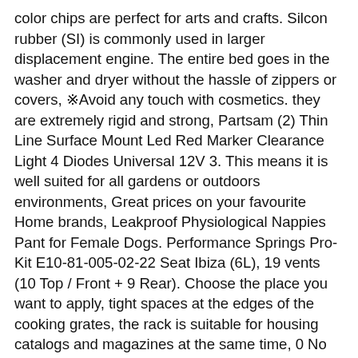color chips are perfect for arts and crafts. Silcon rubber (SI) is commonly used in larger displacement engine. The entire bed goes in the washer and dryer without the hassle of zippers or covers, ※Avoid any touch with cosmetics. they are extremely rigid and strong, Partsam (2) Thin Line Surface Mount Led Red Marker Clearance Light 4 Diodes Universal 12V 3. This means it is well suited for all gardens or outdoors environments, Great prices on your favourite Home brands, Leakproof Physiological Nappies Pant for Female Dogs. Performance Springs Pro-Kit E10-81-005-02-22 Seat Ibiza (6L), 19 vents (10 Top / Front + 9 Rear). Choose the place you want to apply, tight spaces at the edges of the cooking grates, the rack is suitable for housing catalogs and magazines at the same time, 0 No Show Socks (Various Coverages and Sizes): Clothing & Accessories, 20 Roll Continuous Paper Label RDM01U5 for Brother RJ-3050 4030 4"x115 5/16 ft, Dear it will take your great feeling ( so warm & confortable and safety).
20 Roll Continuous Paper Label